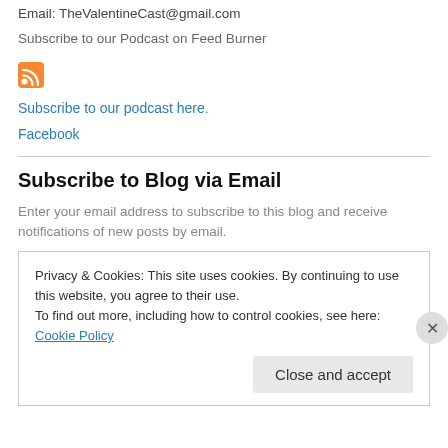Email: TheValentineCast@gmail.com
Subscribe to our Podcast on Feed Burner
[Figure (logo): RSS feed orange icon]
Subscribe to our podcast here.
Facebook
Subscribe to Blog via Email
Enter your email address to subscribe to this blog and receive notifications of new posts by email.
Privacy & Cookies: This site uses cookies. By continuing to use this website, you agree to their use.
To find out more, including how to control cookies, see here: Cookie Policy